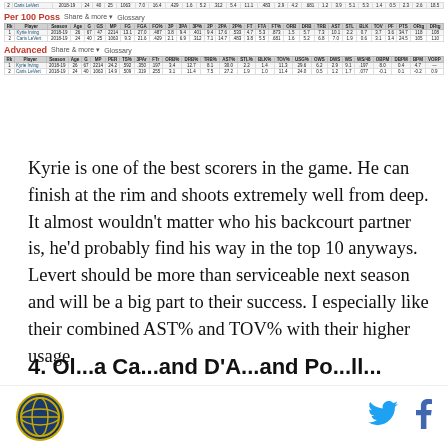| Rk | Player | Season | Age | G | GS | MP | FG | FGA | FG% | 3P | 3PA | 3P% | 2P | 2PA | 2P% | FT | FTA | FT% | ORB | DRB | TRB | AST | STL | BLK | TOV | PF | PTS | ORtg | DRtg |
| --- | --- | --- | --- | --- | --- | --- | --- | --- | --- | --- | --- | --- | --- | --- | --- | --- | --- | --- | --- | --- | --- | --- | --- | --- | --- | --- | --- | --- | --- |
| 1 | Kyrie Irving | 2018-19 | 26 | 67 | 47 | 2214 | 13.1 | 27.0 | .487 | 3.8 | 9.4 | .401 | 9.4 | 17.6 | .533 | 4.7 | 5.3 | .873 | 1.5 | 5.7 | 7.3 | 10.1 | 2.2 | 0.7 | 3.7 | 3.6 | 34.7 | 118 | 108 |
| 2 | Caris LeVert | 2018-19 | 24 | 40 | 25 | 1063 | 9.3 | 21.6 | .429 | 2.1 | 6.9 | .312 | 7.1 | 14.7 | .483 | 3.8 | 5.5 | .681 | 1.6 | 5.2 | 6.8 | 7.0 | 1.9 | 0.6 | 3.1 | 3.4 | 24.5 | 105 | 110 |
| Rk | Player | Season | Age | G | MP | PER | TS% | 3PAr | FTr | ORB% | DRB% | TRB% | AST% | STL% | BLK% | TOV% | USG% | OWS | DWS | WS | WS/48 | OBPM | DBPM | BPM | VORP |
| --- | --- | --- | --- | --- | --- | --- | --- | --- | --- | --- | --- | --- | --- | --- | --- | --- | --- | --- | --- | --- | --- | --- | --- | --- | --- |
| 1 | Kyrie Irving | 2018-19 | 26 | 67 | 2214 | 24.2 | .592 | .350 | .197 | 3.4 | 12.7 | 8.1 | 30.0 | 2.2 | 1.4 | 11.3 | 29.6 | 6.2 | 2.9 | 9.1 | .197 | 8.0 | 0.4 | 4.7 |
| 2 | Caris LeVert | 2018-19 | 24 | 40 | 1063 | 14.9 | .509 | .319 | .255 | 3.1 | 11.4 | 7.5 | 27.2 | 1.9 | 1.0 | 11.4 | 24.0 | 0.5 | 1.2 | 1.7 | .077 | -0.1 | 0.1 | -0.2 | 0.9 |
Kyrie is one of the best scorers in the game. He can finish at the rim and shoots extremely well from deep. It almost wouldn't matter who his backcourt partner is, he'd probably find his way in the top 10 anyways. Levert should be more than serviceable next season and will be a big part to their success. I especially like their combined AST% and TOV% with their higher usage.
4. Step...and D... and P...